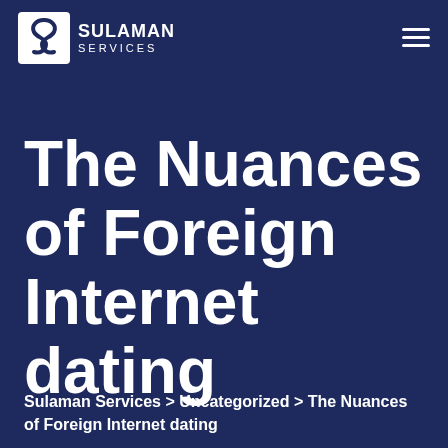Sulaman Services
The Nuances of Foreign Internet dating
Sulaman Services > Uncategorized > The Nuances of Foreign Internet dating